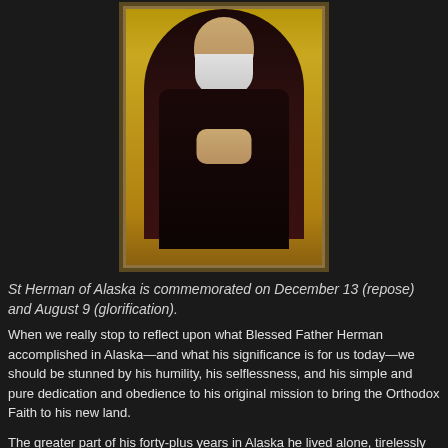[Figure (illustration): Icon painting of St Herman of Alaska, an elderly monk with white beard wearing a black robe, gold background, holding a staff, arched frame typical of Orthodox Christian iconography]
St Herman of Alaska is commemorated on December 13 (repose) and August 9 (glorification).
When we really stop to reflect upon what Blessed Father Herman accomplished in Alaska—and what his significance is for us today—we should be stunned by his humility, his selflessness, and his simple and pure dedication and obedience to his original mission to bring the Orthodox Faith to his new land.
The greater part of his forty-plus years in Alaska he lived alone, tirelessly caring for the native Alaskan peoples who